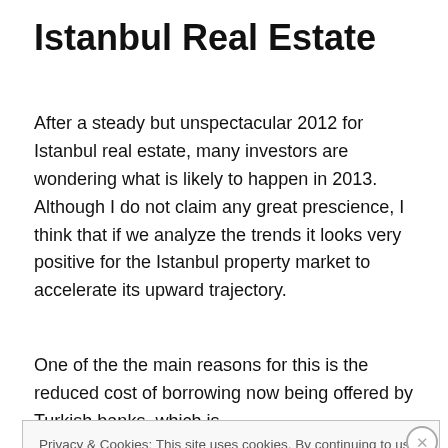Istanbul Real Estate
After a steady but unspectacular 2012 for Istanbul real estate, many investors are wondering what is likely to happen in 2013. Although I do not claim any great prescience, I think that if we analyze the trends it looks very positive for the Istanbul property market to accelerate its upward trajectory.
One of the the main reasons for this is the reduced cost of borrowing now being offered by Turkish banks, which is
Privacy & Cookies: This site uses cookies. By continuing to use this website, you agree to their use.
To find out more, including how to control cookies, see here: Cookie Policy